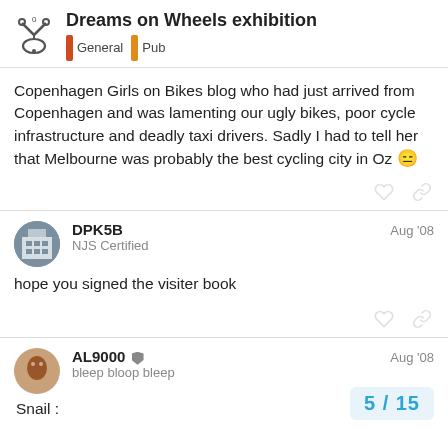Dreams on Wheels exhibition | General | Pub
Copenhagen Girls on Bikes blog who had just arrived from Copenhagen and was lamenting our ugly bikes, poor cycle infrastructure and deadly taxi drivers. Sadly I had to tell her that Melbourne was probably the best cycling city in Oz 😑
DPK5B | NJS Certified | Aug '08
hope you signed the visiter book
AL9000 | bleep bloop bleep | Aug '08
Snail :
5 / 15